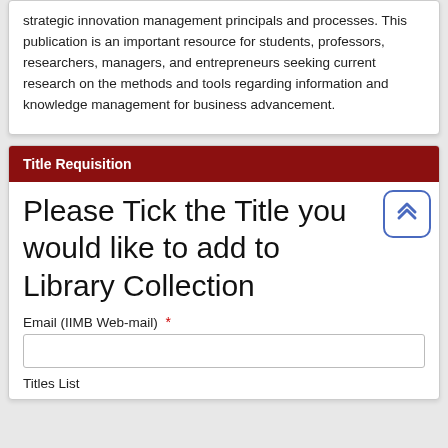strategic innovation management principals and processes. This publication is an important resource for students, professors, researchers, managers, and entrepreneurs seeking current research on the methods and tools regarding information and knowledge management for business advancement.
Title Requisition
Please Tick the Title you would like to add to Library Collection
Email (IIMB Web-mail) *
Titles List